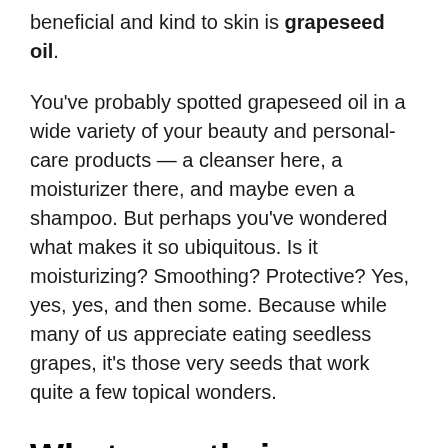beneficial and kind to skin is grapeseed oil.
You've probably spotted grapeseed oil in a wide variety of your beauty and personal-care products — a cleanser here, a moisturizer there, and maybe even a shampoo. But perhaps you've wondered what makes it so ubiquitous. Is it moisturizing? Smoothing? Protective? Yes, yes, yes, and then some. Because while many of us appreciate eating seedless grapes, it's those very seeds that work quite a few topical wonders.
What exactly is grapeseed oil?
As a by-...